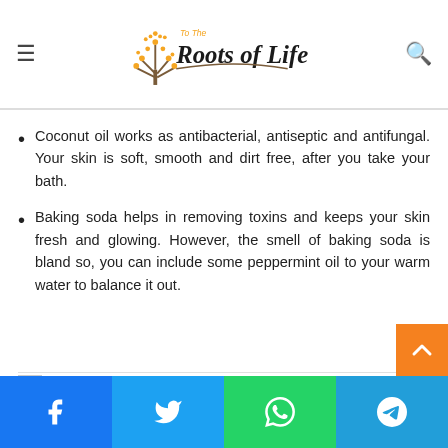To The Roots of Life
Coconut oil works as antibacterial, antiseptic and antifungal. Your skin is soft, smooth and dirt free, after you take your bath.
Baking soda helps in removing toxins and keeps your skin fresh and glowing. However, the smell of baking soda is bland so, you can include some peppermint oil to your warm water to balance it out.
[Figure (photo): Broken image placeholder at the bottom of the content area]
Social share buttons: Facebook, Twitter, WhatsApp, Telegram